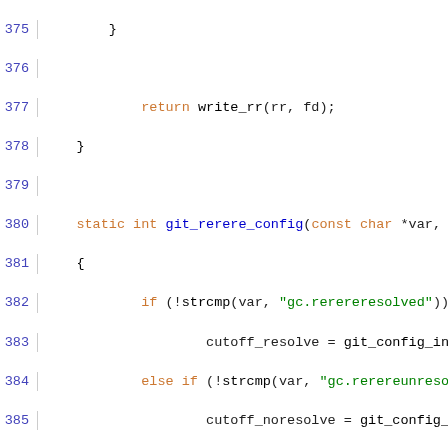[Figure (screenshot): Source code viewer showing C code lines 375-405, with syntax highlighting. Line numbers in blue on the left, keywords in orange, strings in green, numbers in blue, function names in black.]